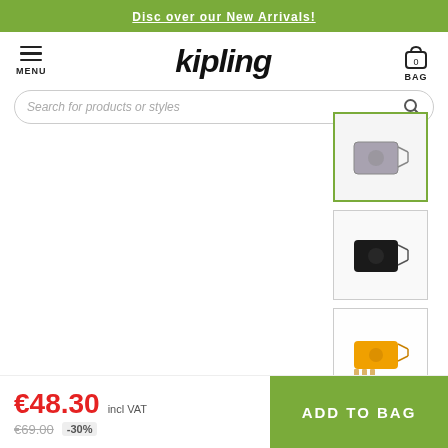Discover our New Arrivals!
[Figure (logo): Kipling brand logo and navigation bar with hamburger menu and bag icon]
Search for products or styles
[Figure (photo): Grey Kipling crossbody bag thumbnail (selected/active)]
[Figure (photo): Black Kipling crossbody bag thumbnail]
[Figure (photo): Yellow/orange Kipling crossbody bag thumbnail]
[Figure (photo): Beige/nude Kipling crossbody bag thumbnail (partially visible)]
€48.30 incl VAT
€69.00 -30%
ADD TO BAG